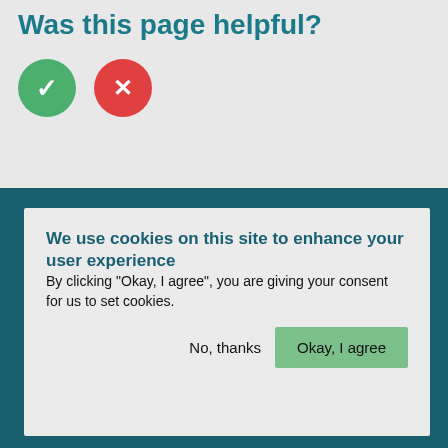Was this page helpful?
[Figure (illustration): Two circular buttons: a green button with a white checkmark (yes) and a red button with a white X (no)]
We use cookies on this site to enhance your user experience
By clicking "Okay, I agree", you are giving your consent for us to set cookies.
No, thanks
Okay, I agree